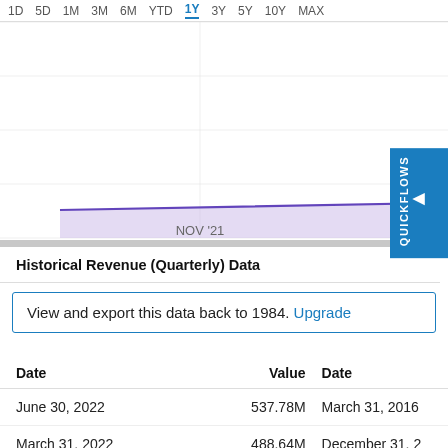[Figure (area-chart): 1Y Stock Price Chart]
Historical Revenue (Quarterly) Data
View and export this data back to 1984. Upgrade
| Date | Value | Date |
| --- | --- | --- |
| June 30, 2022 | 537.78M | March 31, 2016 |
| March 31, 2022 | 488.64M | December 31, 2 |